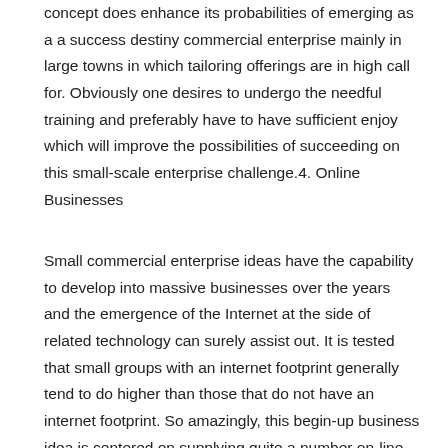concept does enhance its probabilities of emerging as a a success destiny commercial enterprise mainly in large towns in which tailoring offerings are in high call for. Obviously one desires to undergo the needful training and preferably have to have sufficient enjoy which will improve the possibilities of succeeding on this small-scale enterprise challenge.4. Online Businesses
Small commercial enterprise ideas have the capability to develop into massive businesses over the years and the emergence of the Internet at the side of related technology can surely assist out. It is tested that small groups with an internet footprint generally tend to do higher than those that do not have an internet footprint. So amazingly, this begin-up business idea is centered on supplying quite a number on-line services to numerous small and medium organizations. This is the purpose why social media experts, bloggers, internet site designers, and builders are in high call for these days. Such companies require best primary computer structures, software program, and a high pace net connection to